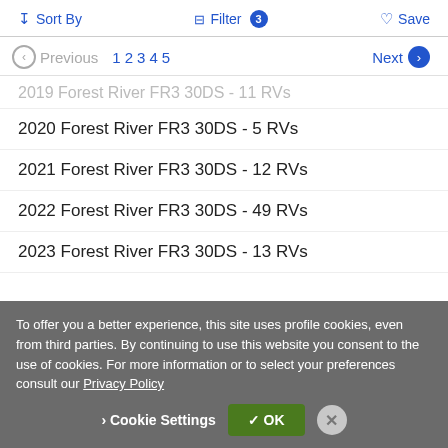Sort By  Filter 3  Save
Previous  1 2 3 4 5  Next
2019 Forest River FR3 30DS - 11 RVs
2020 Forest River FR3 30DS - 5 RVs
2021 Forest River FR3 30DS - 12 RVs
2022 Forest River FR3 30DS - 49 RVs
2023 Forest River FR3 30DS - 13 RVs
To offer you a better experience, this site uses profile cookies, even from third parties. By continuing to use this website you consent to the use of cookies. For more information or to select your preferences consult our Privacy Policy
Cookie Settings  OK